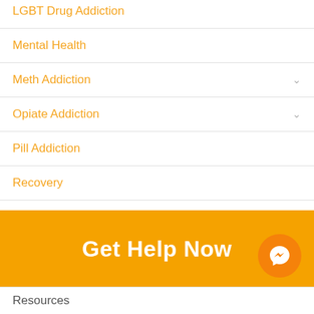LGBT Drug Addiction
Mental Health
Meth Addiction
Opiate Addiction
Pill Addiction
Recovery
Sober Living
Substance Abuse
Uncategorized
Xanax Addiction
Get Help Now
Resources